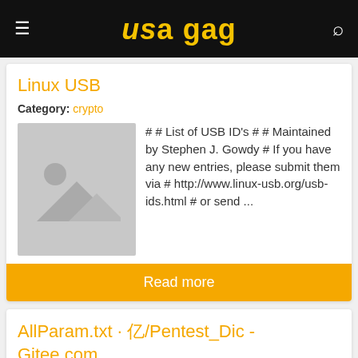USA GAG
Linux USB
Category: crypto
[Figure (photo): Placeholder image with mountain and sun icon on grey background]
# # List of USB ID's # # Maintained by Stephen J. Gowdy # If you have any new entries, please submit them via # http://www.linux-usb.org/usb-ids.html # or send ...
Read more
AllParam.txt · 亿/Pentest_Dic - Gitee.com
Category: crypto